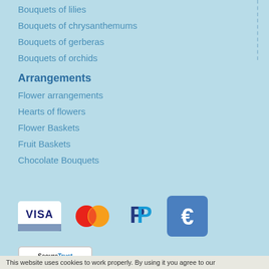Bouquets of lilies
Bouquets of chrysanthemums
Bouquets of gerberas
Bouquets of orchids
Arrangements
Flower arrangements
Hearts of flowers
Flower Baskets
Fruit Baskets
Chocolate Bouquets
[Figure (logo): Payment method icons: Visa, Mastercard, PayPal, Euro payment]
[Figure (logo): SecureTrust Trusted Commerce - Click to Validate badge]
This website uses cookies to work properly. By using it you agree to our